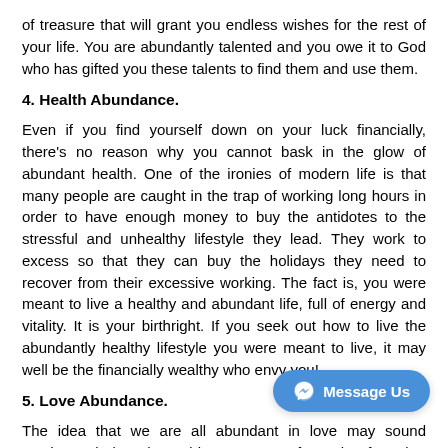of treasure that will grant you endless wishes for the rest of your life. You are abundantly talented and you owe it to God who has gifted you these talents to find them and use them.
4. Health Abundance.
Even if you find yourself down on your luck financially, there’s no reason why you cannot bask in the glow of abundant health. One of the ironies of modern life is that many people are caught in the trap of working long hours in order to have enough money to buy the antidotes to the stressful and unhealthy lifestyle they lead. They work to excess so that they can buy the holidays they need to recover from their excessive working. The fact is, you were meant to live a healthy and abundant life, full of energy and vitality. It is your birthright. If you seek out how to live the abundantly healthy lifestyle you were meant to live, it may well be the financially wealthy who envy you!
5. Love Abundance.
The idea that we are all abundant in love may sound sentimental, but the evidence comes from the fact that children are acquisitively...